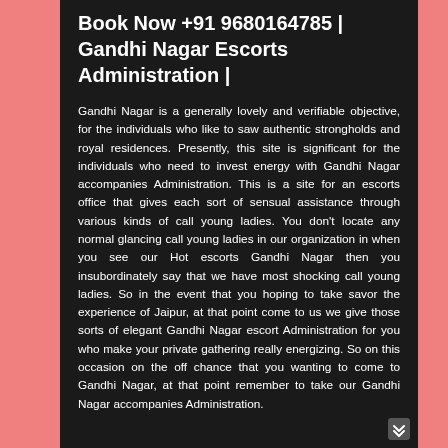Book Now +91 9680164785 | Gandhi Nagar Escorts Administration |
Gandhi Nagar is a generally lovely and verifiable objective, for the individuals who like to saw authentic strongholds and royal residences. Presently, this site is significant for the individuals who need to invest energy with Gandhi Nagar accompanies Administration. This is a site for an escorts office that gives each sort of sensual assistance through various kinds of call young ladies. You don't locate any normal glancing call young ladies in our organization in when you see our Hot escorts Gandhi Nagar then you insubordinately say that we have most shocking call young ladies. So in the event that you hoping to take savor the experience of Jaipur, at that point come to us we give those sorts of elegant Gandhi Nagar escort Administration for you who make your private gathering really energizing. So on this occasion on the off chance that you wanting to come to Gandhi Nagar, at that point remember to take our Gandhi Nagar accompanies Administration.